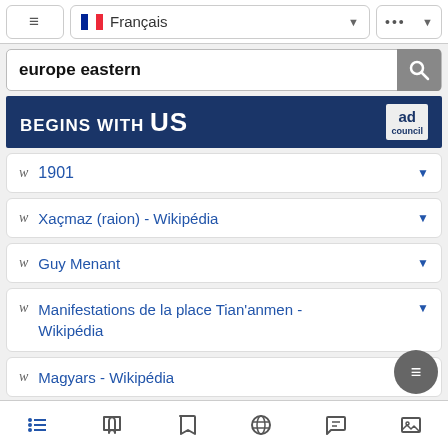[Figure (screenshot): Top navigation bar with hamburger menu, French language selector with flag, and more options button]
europe eastern
[Figure (other): Advertisement banner: BEGINS WITH US, ad council logo]
1901
Xaçmaz (raion) - Wikipédia
Guy Menant
Manifestations de la place Tian'anmen - Wikipédia
Magyars - Wikipédia
Magyars - Wikipédia